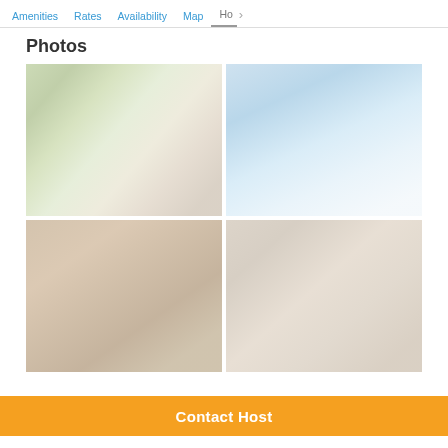Amenities   Rates   Availability   Map   Ho >
Photos
[Figure (photo): Outdoor area with palm trees and pool/patio view]
[Figure (photo): Swimming pool area]
[Figure (photo): Interior living/dining area with furniture]
[Figure (photo): Interior room with dining table and chairs]
Contact Host